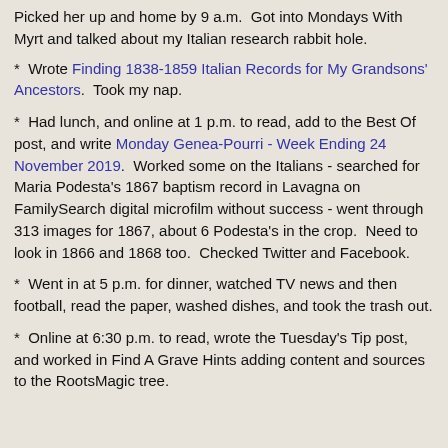Picked her up and home by 9 a.m.  Got into Mondays With Myrt and talked about my Italian research rabbit hole.
*  Wrote Finding 1838-1859 Italian Records for My Grandsons' Ancestors.  Took my nap.
*  Had lunch, and online at 1 p.m. to read, add to the Best Of post, and write Monday Genea-Pourri - Week Ending 24 November 2019.  Worked some on the Italians - searched for Maria Podesta's 1867 baptism record in Lavagna on FamilySearch digital microfilm without success - went through 313 images for 1867, about 6 Podesta's in the crop.  Need to look in 1866 and 1868 too.  Checked Twitter and Facebook.
*  Went in at 5 p.m. for dinner, watched TV news and then football, read the paper, washed dishes, and took the trash out.
*  Online at 6:30 p.m. to read, wrote the Tuesday's Tip post, and worked in Find A Grave Hints adding content and sources to the RootsMagic tree.